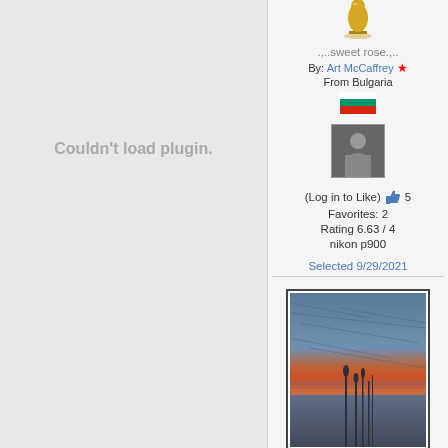Couldn't load plugin.
.,..sweet rose.,..
By: Art McCaffrey ★
From Bulgaria
[Figure (photo): Bulgarian flag icon (red, white, green horizontal stripes)]
[Figure (photo): Small avatar photo of a person in dark clothing]
(Log in to Like) 👍 5
Favorites: 2
Rating 6.63 / 4
nikon p900
Selected 9/29/2021
[Figure (photo): Sunset/sunrise landscape photo with dramatic cloudy sky reflected in water, silhouettes of reeds/grasses in foreground]
Views 1059   Comments 6